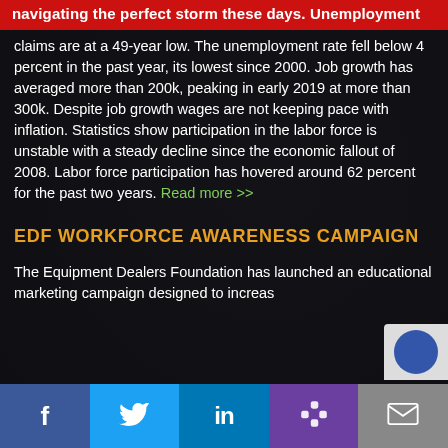navigating the perfect storm these days. Unemployment claims are at a 49-year low. The unemployment rate fell below 4 percent in the past year, its lowest since 2000. Job growth has averaged more than 200k, peaking in early 2019 at more than 300k. Despite job growth wages are not keeping pace with inflation. Statistics show participation in the labor force is unstable with a steady decline since the economic fallout of 2008. Labor force participation has hovered around 62 percent for the past two years. Read more >>
EDF WORKFORCE AWARENESS CAMPAIGN
The Equipment Dealers Foundation has launched an educational marketing campaign designed to increas